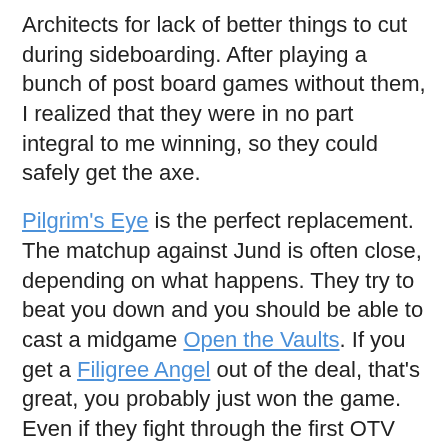Architects for lack of better things to cut during sideboarding. After playing a bunch of post board games without them, I realized that they were in no part integral to me winning, so they could safely get the axe.
Pilgrim's Eye is the perfect replacement. The matchup against Jund is often close, depending on what happens. They try to beat you down and you should be able to cast a midgame Open the Vaults. If you get a Filigree Angel out of the deal, that's great, you probably just won the game. Even if they fight through the first OTV with removal or something like Siege-Gang Commander, you should have plenty of time to combo again.
If you don't reanimate a Filigree, either because you didn't draw the Angel or Sphinx, or just didn't have time to cast Sphinx, then you're in for a nail biter. They usually need two Bolts to burn you out, and sometimes three, depending on who played first and how good their draw was. Lately, I've been on the receiving end of end of turn